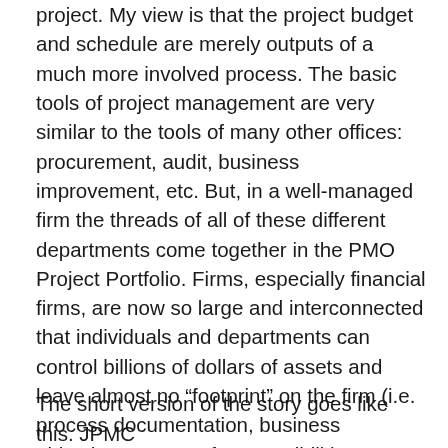project. My view is that the project budget and schedule are merely outputs of a much more involved process. The basic tools of project management are very similar to the tools of many other offices: procurement, audit, business improvement, etc. But, in a well-managed firm the threads of all of these different departments come together in the PMO Project Portfolio. Firms, especially financial firms, are now so large and interconnected that individuals and departments can control billions of dollars of assets and leave almost no “footprint” on the firm (i.e. process documentation, business objectives, scope of responsibilities, stakeholder buy-in, etc.). Last week, we heard that JPMC (the world’s largest bank) ran a “loss prevention department” that lost $2 billion. How did that happen? How do you prevent it in the future?
The short version of the story goes like this. JPMC